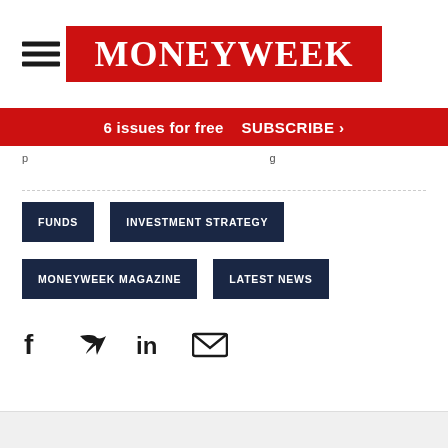[Figure (logo): MoneyWeek logo in red box with white serif text]
6 issues for free  SUBSCRIBE >
p...g
FUNDS
INVESTMENT STRATEGY
MONEYWEEK MAGAZINE
LATEST NEWS
[Figure (infographic): Social media icons: Facebook, Twitter, LinkedIn, Email]
Advertisement